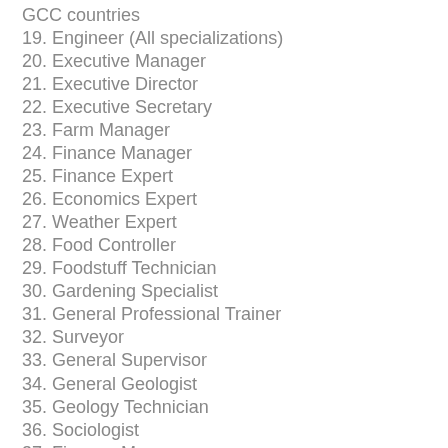GCC countries
19. Engineer (All specializations)
20. Executive Manager
21. Executive Director
22. Executive Secretary
23. Farm Manager
24. Finance Manager
25. Finance Expert
26. Economics Expert
27. Weather Expert
28. Food Controller
29. Foodstuff Technician
30. Gardening Specialist
31. General Professional Trainer
32. Surveyor
33. General Supervisor
34. General Geologist
35. Geology Technician
36. Sociologist
37. Finance Manager (partial)